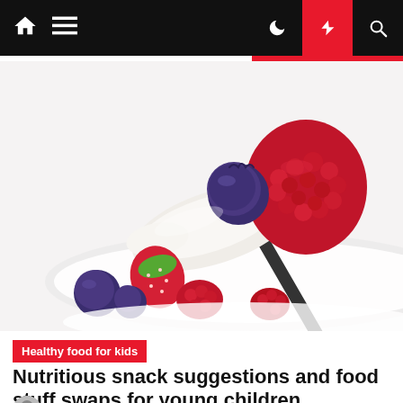Navigation bar with home, menu, dark mode, flash, and search icons
[Figure (photo): Close-up photo of a spoon with white yogurt cream topped with a blueberry and a large raspberry, with more berries (strawberry, blueberries, raspberries) in the background on a white plate]
Healthy food for kids
Nutritious snack suggestions and food stuff swaps for young children